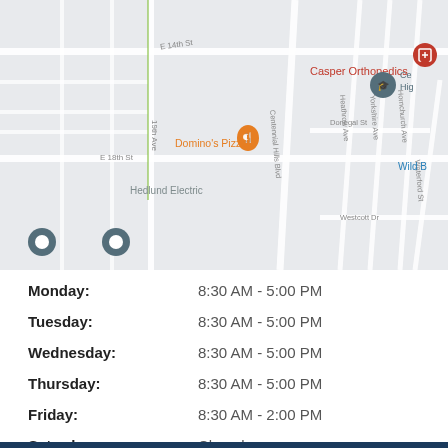[Figure (map): Google Maps view showing location of Casper Orthopedics, with nearby landmarks including Domino's Pizza, Hedlund Electric, and street names like E 14th St, E 18th St, 19th Ave, Centennial Hills Blvd, Heathrow Ave, Yorkshire Ave, Hornchurch Ave, Waterford St, Donegal St, Westcott Dr.]
| Day | Hours |
| --- | --- |
| Monday: | 8:30 AM - 5:00 PM |
| Tuesday: | 8:30 AM - 5:00 PM |
| Wednesday: | 8:30 AM - 5:00 PM |
| Thursday: | 8:30 AM - 5:00 PM |
| Friday: | 8:30 AM - 2:00 PM |
| Saturday: | Closed |
| Sunday: | Closed |